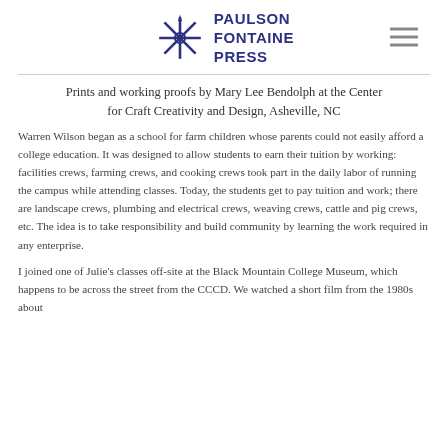[Figure (logo): Paulson Fontaine Press logo with a star/compass-like symbol and navigation hamburger menu icon]
Prints and working proofs by Mary Lee Bendolph at the Center for Craft Creativity and Design, Asheville, NC
Warren Wilson began as a school for farm children whose parents could not easily afford a college education. It was designed to allow students to earn their tuition by working: facilities crews, farming crews, and cooking crews took part in the daily labor of running the campus while attending classes. Today, the students get to pay tuition and work; there are landscape crews, plumbing and electrical crews, weaving crews, cattle and pig crews, etc. The idea is to take responsibility and build community by learning the work required in any enterprise.
I joined one of Julie's classes off-site at the Black Mountain College Museum, which happens to be across the street from the CCCD. We watched a short film from the 1980s about